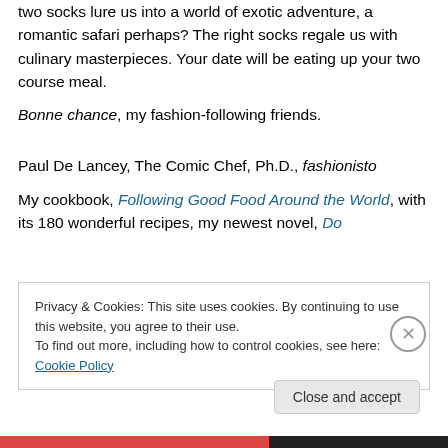two socks lure us into a world of exotic adventure, a romantic safari perhaps? The right socks regale us with culinary masterpieces. Your date will be eating up your two course meal.
Bonne chance, my fashion-following friends.
Paul De Lancey, The Comic Chef, Ph.D., fashionisto
My cookbook, Following Good Food Around the World, with its 180 wonderful recipes, my newest novel, Do
Privacy & Cookies: This site uses cookies. By continuing to use this website, you agree to their use.
To find out more, including how to control cookies, see here: Cookie Policy
Close and accept